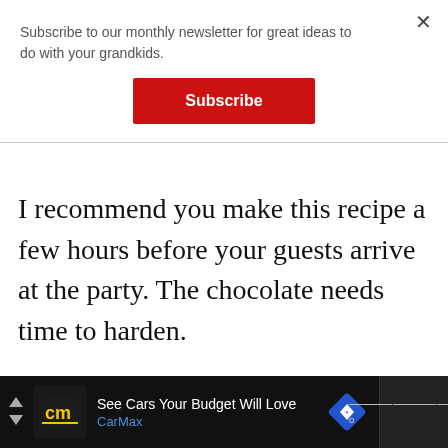Subscribe to our monthly newsletter for great ideas to do with your grandkids.
Subscribe
I recommend you make this recipe a few hours before your guests arrive at the party. The chocolate needs time to harden.
See Cars Your Budget Will Love
CarMax